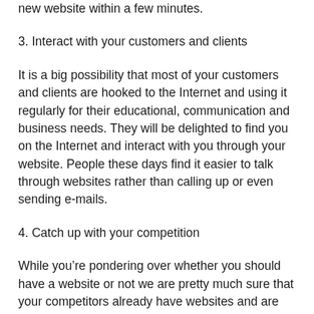new website within a few minutes.
3. Interact with your customers and clients
It is a big possibility that most of your customers and clients are hooked to the Internet and using it regularly for their educational, communication and business needs. They will be delighted to find you on the Internet and interact with you through your website. People these days find it easier to talk through websites rather than calling up or even sending e-mails.
4. Catch up with your competition
While you’re pondering over whether you should have a website or not we are pretty much sure that your competitors already have websites and are reaping the benefits of doing business on the World Wide